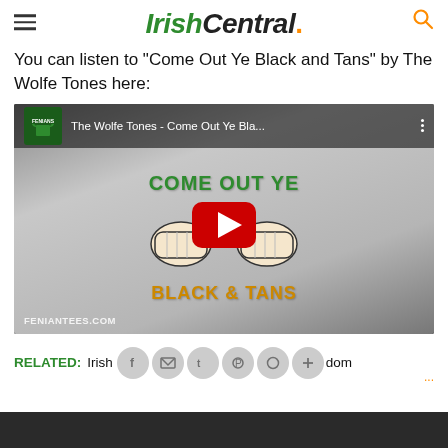IrishCentral.
You can listen to "Come Out Ye Black and Tans" by The Wolfe Tones here:
[Figure (screenshot): YouTube video thumbnail showing a t-shirt with text 'COME OUT YE BLACK & TANS' with fists graphic, YouTube play button overlay, and video title 'The Wolfe Tones - Come Out Ye Bla...' in top bar. Watermark: FENIANTEES.COM]
RELATED: Irish ... Kingdom